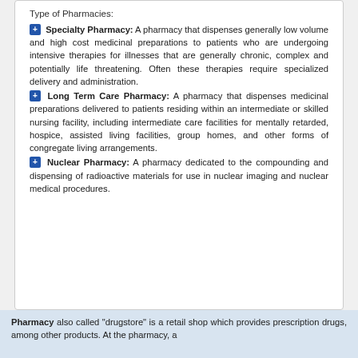Type of Pharmacies:
Specialty Pharmacy: A pharmacy that dispenses generally low volume and high cost medicinal preparations to patients who are undergoing intensive therapies for illnesses that are generally chronic, complex and potentially life threatening. Often these therapies require specialized delivery and administration.
Long Term Care Pharmacy: A pharmacy that dispenses medicinal preparations delivered to patients residing within an intermediate or skilled nursing facility, including intermediate care facilities for mentally retarded, hospice, assisted living facilities, group homes, and other forms of congregate living arrangements.
Nuclear Pharmacy: A pharmacy dedicated to the compounding and dispensing of radioactive materials for use in nuclear imaging and nuclear medical procedures.
Pharmacy also called "drugstore" is a retail shop which provides prescription drugs, among other products. At the pharmacy, a